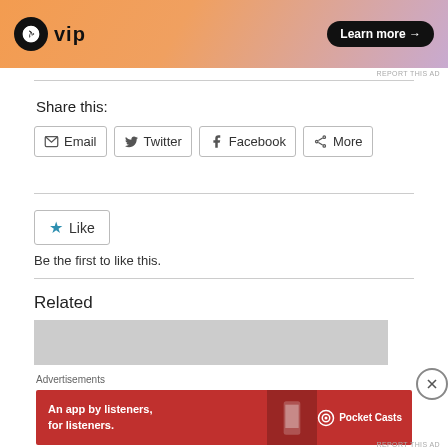[Figure (illustration): WordPress VIP advertisement banner with orange-purple gradient background, WordPress logo, 'vip' text, and 'Learn more →' button]
REPORT THIS AD
Share this:
[Figure (other): Share buttons row: Email, Twitter, Facebook, More]
[Figure (other): Like button with blue star icon and 'Like' text]
Be the first to like this.
Related
[Figure (photo): Gray placeholder image for related content]
Advertisements
[Figure (illustration): Pocket Casts advertisement: red banner with phone image, 'An app by listeners, for listeners.' text and Pocket Casts logo]